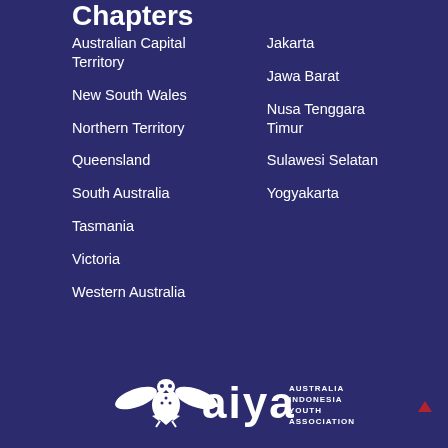Chapters
Australian Capital Territory
New South Wales
Northern Territory
Queensland
South Australia
Tasmania
Victoria
Western Australia
Jakarta
Jawa Barat
Nusa Tenggara Timur
Sulawesi Selatan
Yogyakarta
[Figure (logo): AIYA - Australia Indonesia Youth Association logo in white on dark blue background]